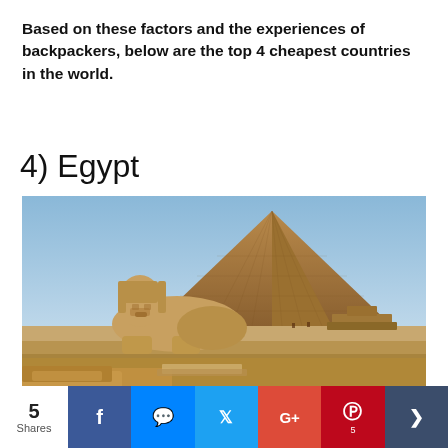Based on these factors and the experiences of backpackers, below are the top 4 cheapest countries in the world.
4)  Egypt
[Figure (photo): Photo of the Great Sphinx and Great Pyramid of Giza, Egypt, under a blue sky with sandy desert foreground.]
Few other places in the world can make you feel as though you have traveled back in time. From the
5 Shares | Facebook | Messenger | Twitter | Google+ | Pinterest | More